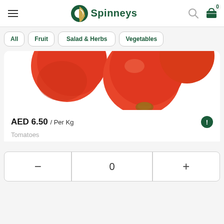[Figure (logo): Spinneys grocery store logo with green circle icon and wordmark]
[Figure (photo): Close-up photo of red tomatoes on white background]
AED 6.50 / Per Kg
Tomatoes
- 0 +